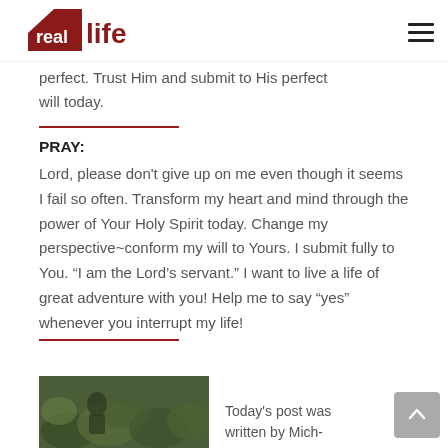real life
perfect. Trust Him and submit to His perfect will today.
PRAY:
Lord, please don't give up on me even though it seems I fail so often. Transform my heart and mind through the power of Your Holy Spirit today. Change my perspective~conform my will to Yours. I submit fully to You. “I am the Lord’s servant.” I want to live a life of great adventure with you! Help me to say “yes” whenever you interrupt my life!
[Figure (photo): Thumbnail photo, appears to show a person among foliage]
Today's post was written by Mich-